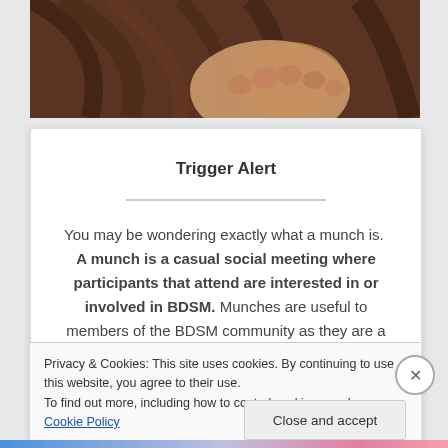[Figure (photo): Close-up photo of a person with dark hair and hands near their face, showing a fist, with warm brown and skin tones]
Trigger Alert
You may be wondering exactly what a munch is.  A munch is a casual social meeting where participants that attend are interested in or involved in BDSM. Munches are useful to members of the BDSM community as they are a means and a physical venue to connect.  Mind you munches were popularized well
Privacy & Cookies: This site uses cookies. By continuing to use this website, you agree to their use.
To find out more, including how to control cookies, see here: Cookie Policy
Close and accept